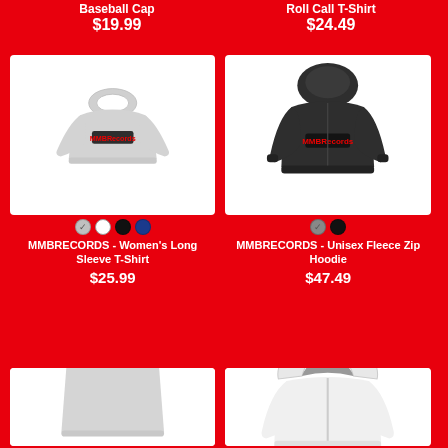Baseball Cap
$19.99
Roll Call T-Shirt
$24.49
[Figure (photo): Women's light gray long sleeve T-shirt with MMBRecords logo on chest]
MMBRECORDS - Women's Long Sleeve T-Shirt
$25.99
[Figure (photo): Dark charcoal unisex fleece zip hoodie (back view) with MMBRecords logo]
MMBRECORDS - Unisex Fleece Zip Hoodie
$47.49
[Figure (photo): Light gray women's tank top]
[Figure (photo): White hoodie sweatshirt]